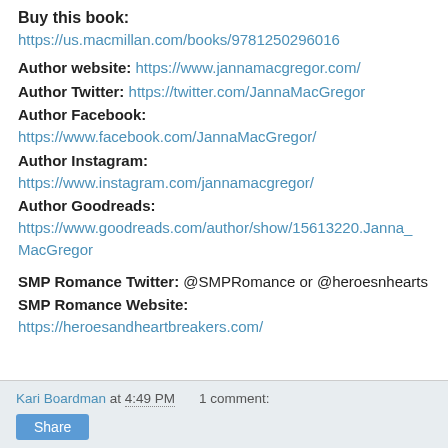Buy this book: https://us.macmillan.com/books/9781250296016
Author website: https://www.jannamacgregor.com/
Author Twitter: https://twitter.com/JannaMacGregor
Author Facebook: https://www.facebook.com/JannaMacGregor/
Author Instagram: https://www.instagram.com/jannamacgregor/
Author Goodreads: https://www.goodreads.com/author/show/15613220.Janna_MacGregor
SMP Romance Twitter: @SMPRomance or @heroesnhearts
SMP Romance Website: https://heroesandheartbreakers.com/
Kari Boardman at 4:49 PM   1 comment:   Share